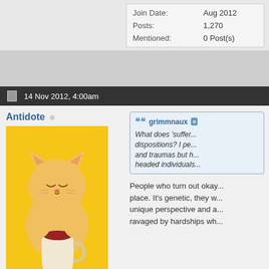| Join Date: | Aug 2012 |
| Posts: | 1,270 |
| Mentioned: | 0 Post(s) |
14 Nov 2012, 4:00am
Antidote
[Figure (illustration): Illustration of a cartoon cat with closed eyes holding a cup of red wine, on a yellow background]
Rude & Shouty
Forum Addiction:
grimmnaux — What does 'suffer... dispositions? I per... and traumas but h... headed individuals...
People who turn out okay... place. It's genetic, they w... unique perspective and a... ravaged by hardships wh...